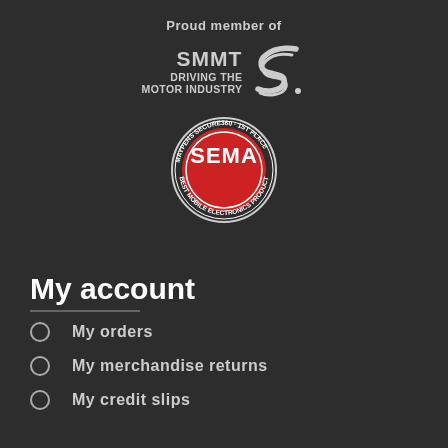Proud member of
[Figure (logo): SMMT - Driving the Motor Industry logo with stylized S graphic]
[Figure (logo): SEMA award badge - Maypens Secure360 1st Place Best Mobile Electronics Product]
My account
My orders
My merchandise returns
My credit slips